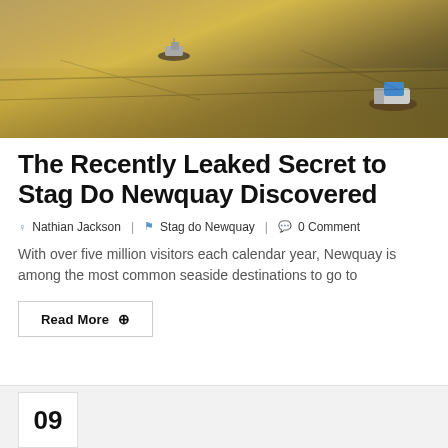[Figure (photo): Aerial/eye-level view of small boats moored in shallow, golden-hued water with mudflats, taken at dusk or dawn]
The Recently Leaked Secret to Stag Do Newquay Discovered
Nathian Jackson  |  Stag do Newquay  |  0 Comment
With over five million visitors each calendar year, Newquay is among the most common seaside destinations to go to
Read More ⊕
09